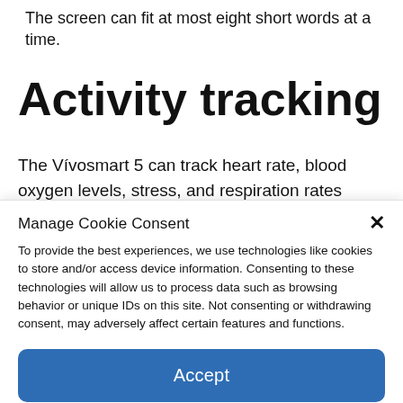The screen can fit at most eight short words at a time.
Activity tracking
The Vívosmart 5 can track heart rate, blood oxygen levels, stress, and respiration rates
[Figure (screenshot): Cookie consent modal dialog with title 'Manage Cookie Consent', a close X button, body text about cookies and consent, an Accept button, and a Cookie Policy link.]
Manage Cookie Consent
To provide the best experiences, we use technologies like cookies to store and/or access device information. Consenting to these technologies will allow us to process data such as browsing behavior or unique IDs on this site. Not consenting or withdrawing consent, may adversely affect certain features and functions.
Accept
Cookie Policy